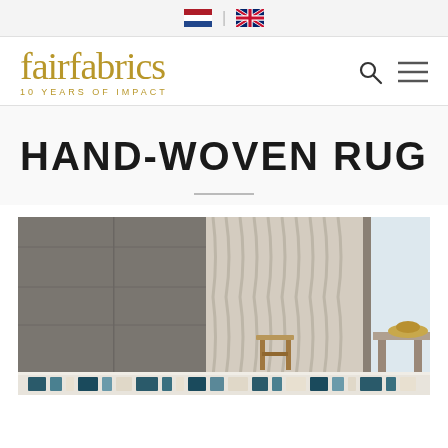Language selector: NL | EN
fairfabrics — 10 YEARS OF IMPACT
HAND-WOVEN RUG
[Figure (photo): Interior room photo showing a hand-woven rug on a light floor, with a wooden stool, flowing beige curtains, a bench with a hat, and a large window.]